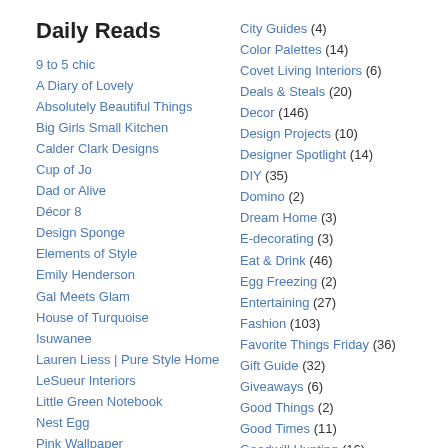Daily Reads
9 to 5 chic
A Diary of Lovely
Absolutely Beautiful Things
Big Girls Small Kitchen
Calder Clark Designs
Cup of Jo
Dad or Alive
Décor 8
Design Sponge
Elements of Style
Emily Henderson
Gal Meets Glam
House of Turquoise
Isuwanee
Lauren Liess | Pure Style Home
LeSueur Interiors
Little Green Notebook
Nest Egg
Pink Wallpaper
Roost
Smitten Kitchen
Style Me Pretty
the long and short of it
The Neo-Trad
City Guides (4)
Color Palettes (14)
Covet Living Interiors (6)
Deals & Steals (20)
Decor (146)
Design Projects (10)
Designer Spotlight (14)
DIY (35)
Domino (2)
Dream Home (3)
E-decorating (3)
Eat & Drink (46)
Egg Freezing (2)
Entertaining (27)
Fashion (103)
Favorite Things Friday (36)
Gift Guide (32)
Giveaways (6)
Good Things (2)
Good Times (11)
Goodwill Hunting (16)
Grief (2)
Guest Bloggers (5)
Gus (6)
Health (5)
Hilarious (2)